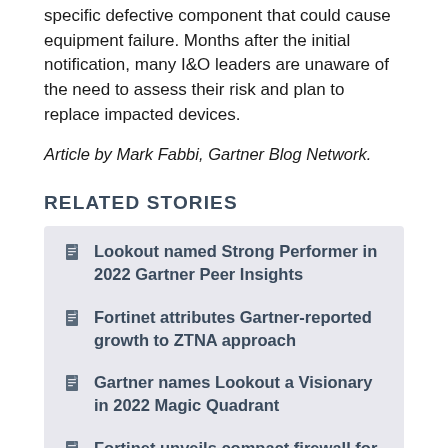specific defective component that could cause equipment failure. Months after the initial notification, many I&O leaders are unaware of the need to assess their risk and plan to replace impacted devices.
Article by Mark Fabbi, Gartner Blog Network.
RELATED STORIES
Lookout named Strong Performer in 2022 Gartner Peer Insights
Fortinet attributes Gartner-reported growth to ZTNA approach
Gartner names Lookout a Visionary in 2022 Magic Quadrant
Fortinet unveils compact firewall for